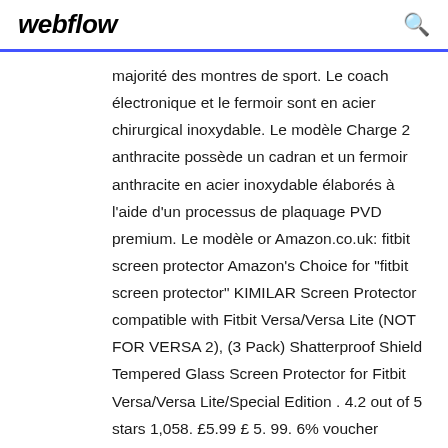webflow
majorité des montres de sport. Le coach électronique et le fermoir sont en acier chirurgical inoxydable. Le modèle Charge 2 anthracite possède un cadran et un fermoir anthracite en acier inoxydable élaborés à l'aide d'un processus de plaquage PVD premium. Le modèle or Amazon.co.uk: fitbit screen protector Amazon's Choice for "fitbit screen protector" KIMILAR Screen Protector compatible with Fitbit Versa/Versa Lite (NOT FOR VERSA 2), (3 Pack) Shatterproof Shield Tempered Glass Screen Protector for Fitbit Versa/Versa Lite/Special Edition . 4.2 out of 5 stars 1,058. £5.99 £ 5. 99. 6% voucher applied. Save 6% with voucher. Get it Tuesday, May 19.